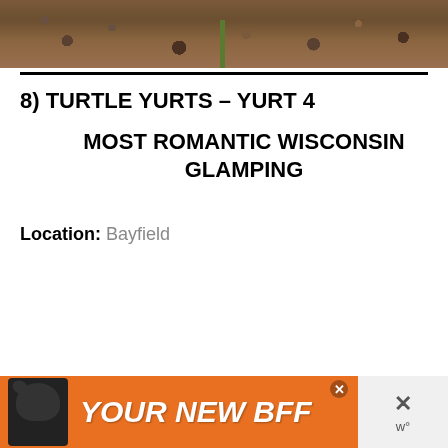[Figure (photo): Partial photo showing rocky/gravelly ground with autumn leaves and a green stake or post, cropped at top of page]
8) TURTLE YURTS – YURT 4
MOST ROMANTIC WISCONSIN GLAMPING
Location: Bayfield
[Figure (photo): Advertisement banner with orange background showing a black dog and text 'YOUR NEW BFF']